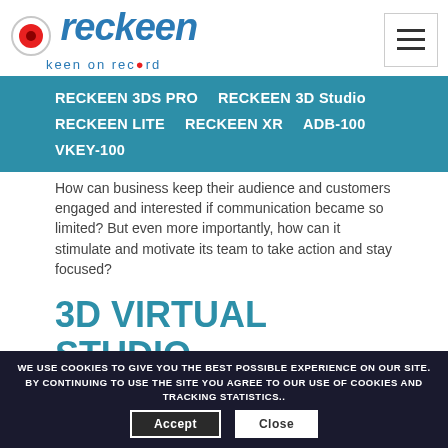[Figure (logo): Reckeen logo with red circle record icon and italic blue 'reckeen' text, tagline 'keen on record' with red dot in 'record']
[Figure (other): Hamburger menu button (three horizontal lines in a square border)]
[Figure (other): Navigation dropdown menu with teal background showing: RECKEEN 3DS PRO, RECKEEN 3D Studio, RECKEEN LITE, RECKEEN XR, ADB-100, VKEY-100]
How can business keep their audience and customers engaged and interested if communication became so limited? But even more importantly, how can it stimulate and motivate its team to take action and stay focused?
3D VIRTUAL STUDIO TECHNOLOGY
WE USE COOKIES TO GIVE YOU THE BEST POSSIBLE EXPERIENCE ON OUR SITE. BY CONTINUING TO USE THE SITE YOU AGREE TO OUR USE OF COOKIES AND TRACKING STATISTICS..